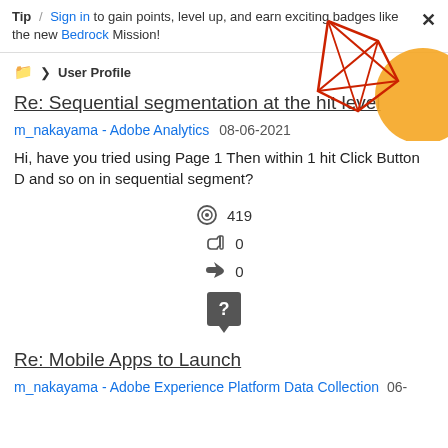Tip / Sign in to gain points, level up, and earn exciting badges like the new Bedrock Mission!
> User Profile
[Figure (illustration): Decorative geometric illustration with red diamond/polygon shapes and an orange circle, top-right corner]
Re: Sequential segmentation at the hit level
m_nakayama - Adobe Analytics  08-06-2021
Hi, have you tried using Page 1 Then within 1 hit Click Button D and so on in sequential segment?
419
0
0
[Figure (illustration): Dark grey speech bubble icon with question mark]
Re: Mobile Apps to Launch
m_nakayama - Adobe Experience Platform Data Collection  06-